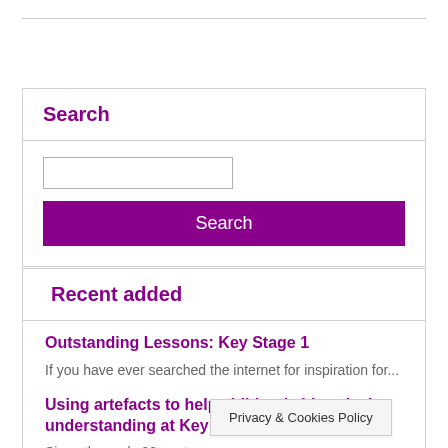Search
Recent added
Outstanding Lessons: Key Stage 1
If you have ever searched the internet for inspiration for...
Using artefacts to help children's historical understanding at Key Stage 1
Since the early 90s, arte…isingly
Privacy & Cookies Policy